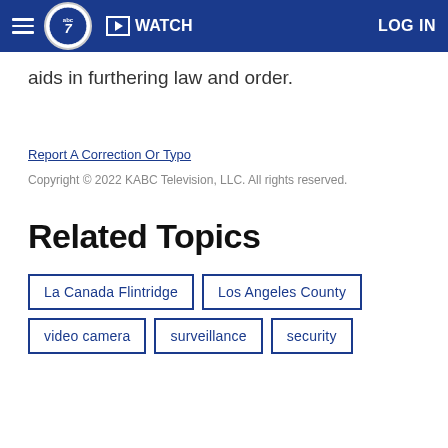ABC7 — WATCH — LOG IN
aids in furthering law and order.
Report A Correction Or Typo
Copyright © 2022 KABC Television, LLC. All rights reserved.
Related Topics
La Canada Flintridge
Los Angeles County
video camera
surveillance
security